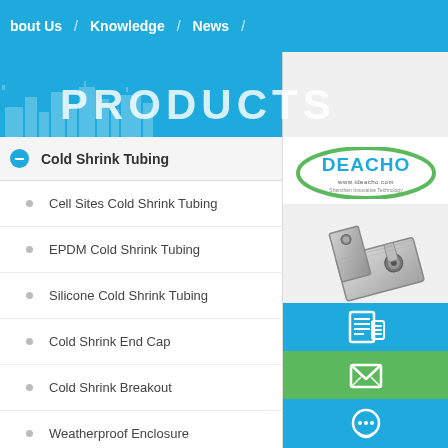bout Us / Knowledge / News /
PRODUCTS
Cold Shrink Tubing
Cell Sites Cold Shrink Tubing
EPDM Cold Shrink Tubing
Silicone Cold Shrink Tubing
Cold Shrink End Cap
Cold Shrink Breakout
Weatherproof Enclosure
[Figure (logo): DEACHO logo with green oval and blue text, www.ideacho.com]
[Figure (photo): Metal mounting bracket hardware product photo]
[Figure (infographic): Blue button with phone/catalog icon]
[Figure (infographic): Green button with email/envelope icon]
[Figure (infographic): Blue button with chat icon (partially visible)]